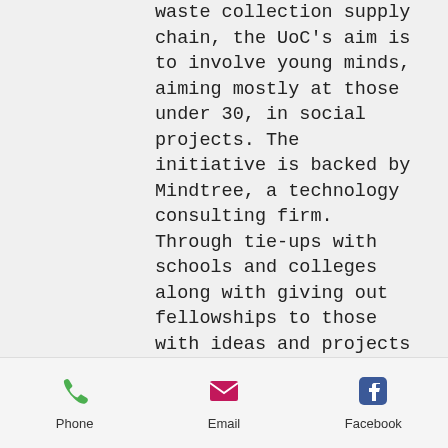waste collection supply chain, the UoC's aim is to involve young minds, aiming mostly at those under 30, in social projects. The initiative is backed by Mindtree, a technology consulting firm. Through tie-ups with schools and colleges along with giving out fellowships to those with ideas and projects for social change, it is looking at inculcating service learning in
[Figure (screenshot): Mobile app bottom toolbar with three items: Phone (green phone icon), Email (pink envelope icon), Facebook (blue Facebook icon)]